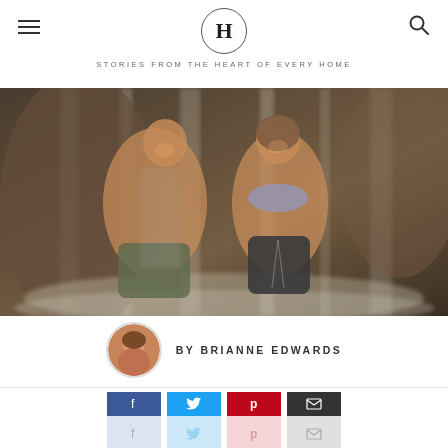H — STORIES FROM THE HEART OF EVERY HOME
[Figure (photo): A man and woman standing under a waterfall, both smiling and wet, man shirtless in green shorts, woman in bikini top and black shorts]
BY BRIANNE EDWARDS
[Figure (infographic): Social share buttons: Facebook (blue), Twitter (cyan), Pinterest (red), Email (dark gray), each with icon in darker top half and lighter bottom half]